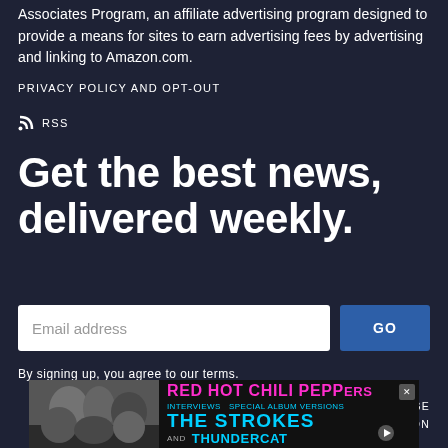Associates Program, an affiliate advertising program designed to provide a means for sites to earn advertising fees by advertising and linking to Amazon.com.
PRIVACY POLICY AND OPT-OUT
RSS
Get the best news, delivered weekly.
Email address
GO
By signing up, you agree to our terms.
SUBSCRIBE
MANAGE MY SUBSCRIPTION
[Figure (infographic): Advertisement banner for Red Hot Chili Peppers, The Strokes, and Thundercat concert/album, with black and white photo of musicians on the left and colored text on dark background.]